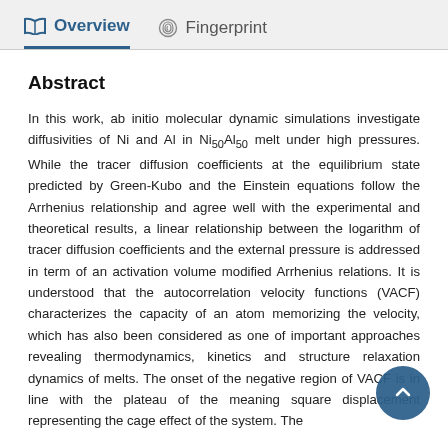Overview   Fingerprint
Abstract
In this work, ab initio molecular dynamic simulations investigate diffusivities of Ni and Al in Ni₅₀Al₅₀ melt under high pressures. While the tracer diffusion coefficients at the equilibrium state predicted by Green-Kubo and the Einstein equations follow the Arrhenius relationship and agree well with the experimental and theoretical results, a linear relationship between the logarithm of tracer diffusion coefficients and the external pressure is addressed in term of an activation volume modified Arrhenius relations. It is understood that the autocorrelation velocity functions (VACF) characterizes the capacity of an atom memorizing the velocity, which has also been considered as one of important approaches revealing thermodynamics, kinetics and structure relaxation dynamics of melts. The onset of the negative region of VACF is in line with the plateau of the meaning square displacement representing the cage effect of the system. The